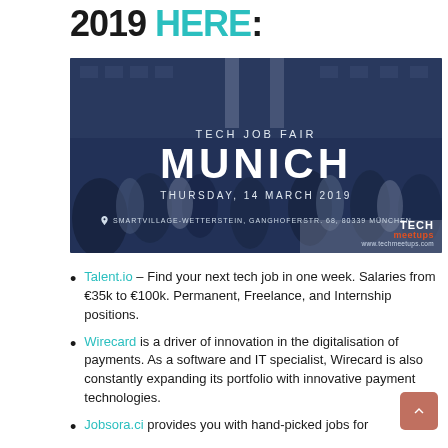2019 HERE:
[Figure (photo): Tech Job Fair Munich promotional banner image showing people at a networking event with overlay text: TECH JOB FAIR, MUNICH, THURSDAY, 14 MARCH 2019, SMARTVILLAGE-WETTERSTEIN, GANGHOFERSTR. 68, 80339 MÜNCHEN, TechMeetups logo and www.techmeetups.com]
Talent.io – Find your next tech job in one week. Salaries from €35k to €100k. Permanent, Freelance, and Internship positions.
Wirecard is a driver of innovation in the digitalisation of payments. As a software and IT specialist, Wirecard is also constantly expanding its portfolio with innovative payment technologies.
Jobsora.ci provides you with hand-picked jobs for...